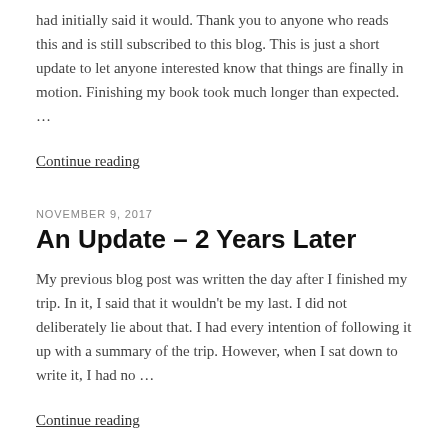had initially said it would. Thank you to anyone who reads this and is still subscribed to this blog. This is just a short update to let anyone interested know that things are finally in motion. Finishing my book took much longer than expected. …
Continue reading
NOVEMBER 9, 2017
An Update – 2 Years Later
My previous blog post was written the day after I finished my trip. In it, I said that it wouldn't be my last. I did not deliberately lie about that. I had every intention of following it up with a summary of the trip. However, when I sat down to write it, I had no …
Continue reading